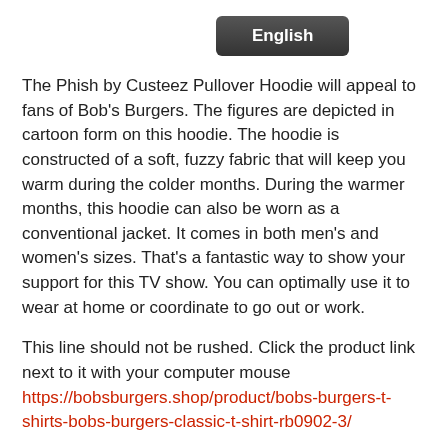[Figure (other): Dark rounded button labeled 'English']
The Phish by Custeez Pullover Hoodie will appeal to fans of Bob's Burgers. The figures are depicted in cartoon form on this hoodie. The hoodie is constructed of a soft, fuzzy fabric that will keep you warm during the colder months. During the warmer months, this hoodie can also be worn as a conventional jacket. It comes in both men's and women's sizes. That's a fantastic way to show your support for this TV show. You can optimally use it to wear at home or coordinate to go out or work.
This line should not be rushed. Click the product link next to it with your computer mouse https://bobsburgers.shop/product/bobs-burgers-t-shirts-bobs-burgers-classic-t-shirt-rb0902-3/